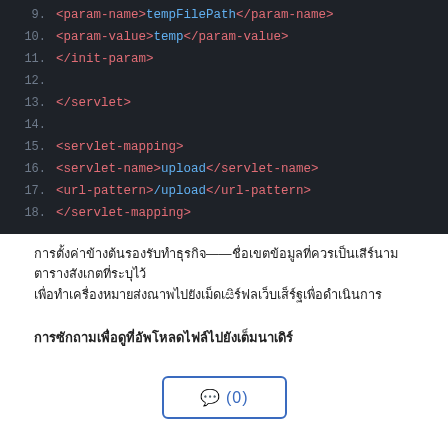[Figure (screenshot): Code editor screenshot showing XML servlet configuration lines 9-18 on dark background. Lines show init-param, servlet, servlet-mapping XML tags in red/pink with attribute values in blue.]
Thai text paragraph describing servlet configuration content.
Thai section header text.
[Figure (other): Comment button showing '0 (0)' with blue border]